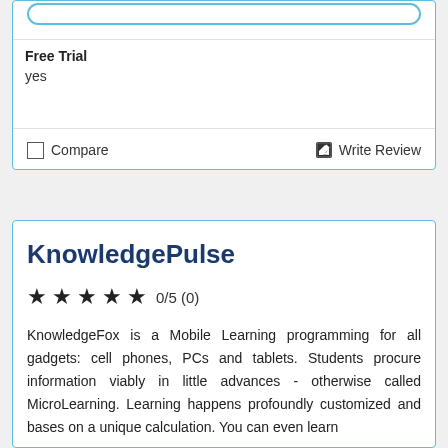[Figure (other): Rounded button/pill shape at the top of the card, partially visible]
Free Trial
yes
Compare
Write Review
KnowledgePulse
0/5 (0)
KnowledgeFox is a Mobile Learning programming for all gadgets: cell phones, PCs and tablets. Students procure information viably in little advances - otherwise called MicroLearning. Learning happens profoundly customized and bases on a unique calculation. You can even learn